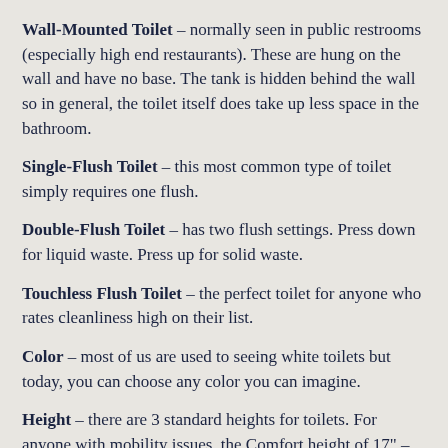Wall-Mounted Toilet – normally seen in public restrooms (especially high end restaurants). These are hung on the wall and have no base. The tank is hidden behind the wall so in general, the toilet itself does take up less space in the bathroom.
Single-Flush Toilet – this most common type of toilet simply requires one flush.
Double-Flush Toilet – has two flush settings. Press down for liquid waste. Press up for solid waste.
Touchless Flush Toilet – the perfect toilet for anyone who rates cleanliness high on their list.
Color – most of us are used to seeing white toilets but today, you can choose any color you can imagine.
Height – there are 3 standard heights for toilets. For anyone with mobility issues, the Comfort height of 17" – 19" is recommended. The Standard height is 15" and there is a Child height of 10" – 14". Of course, the wall…